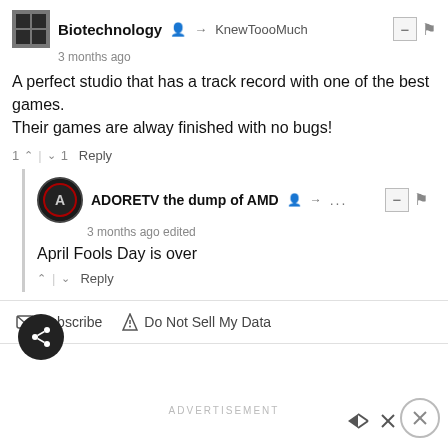Biotechnology → KnewToooMuch
3 months ago
A perfect studio that has a track record with one of the best games.
Their games are alway finished with no bugs!
1 ↑ | ↓ 1 Reply
ADORETV the dump of AMD → ...
3 months ago edited
April Fools Day is over
↑ | ↓ Reply
Subscribe  Do Not Sell My Data